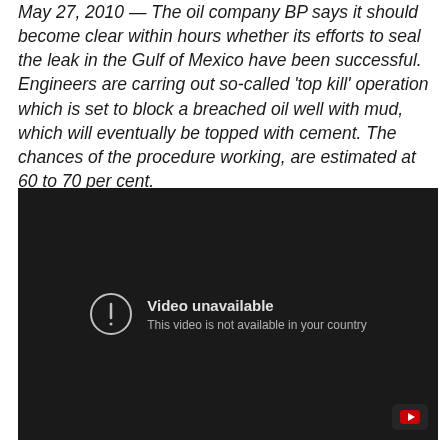May 27, 2010 — The oil company BP says it should become clear within hours whether its efforts to seal the leak in the Gulf of Mexico have been successful. Engineers are carring out so-called 'top kill' operation which is set to block a breached oil well with mud, which will eventually be topped with cement. The chances of the procedure working, are estimated at 60 to 70 per cent.
[Figure (screenshot): Embedded video player showing 'Video unavailable — This video is not available in your country' message on a dark background, with a YouTube icon button in the bottom right corner.]